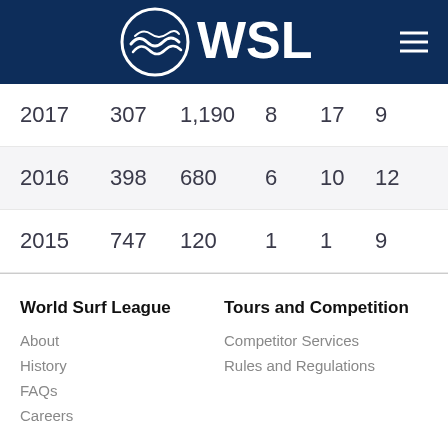WSL - World Surf League
| Year | Col2 | Col3 | Col4 | Col5 | Col6 |
| --- | --- | --- | --- | --- | --- |
| 2017 | 307 | 1,190 | 8 | 17 | 9 |
| 2016 | 398 | 680 | 6 | 10 | 12 |
| 2015 | 747 | 120 | 1 | 1 | 9 |
World Surf League
About
History
FAQs
Careers
Tours and Competition
Competitor Services
Rules and Regulations